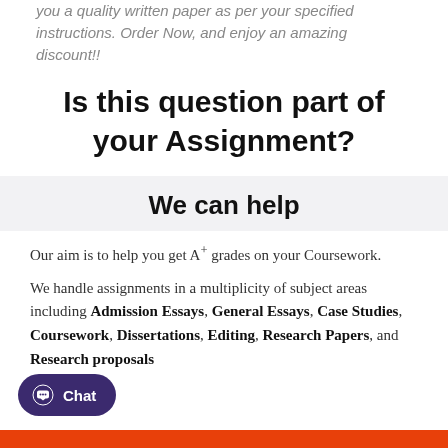you a quality written paper as per your specified instructions. Order Now, and enjoy an amazing discount!!
Is this question part of your Assignment?
We can help
Our aim is to help you get A+ grades on your Coursework.
We handle assignments in a multiplicity of subject areas including Admission Essays, General Essays, Case Studies, Coursework, Dissertations, Editing, Research Papers, and Research proposals